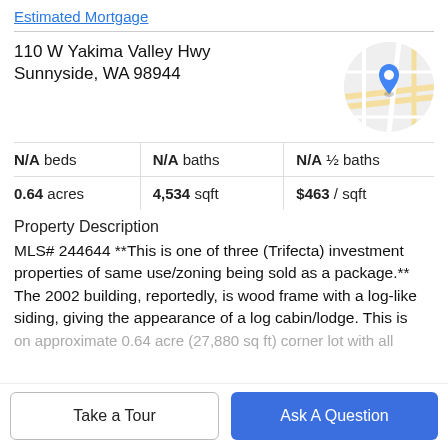Estimated Mortgage
110 W Yakima Valley Hwy
Sunnyside, WA 98944
[Figure (map): Circular map thumbnail showing street map with a blue location pin marker]
| N/A beds | N/A baths | N/A ½ baths |
| 0.64 acres | 4,534 sqft | $463 / sqft |
Property Description
MLS# 244644 **This is one of three (Trifecta) investment properties of same use/zoning being sold as a package.** The 2002 building, reportedly, is wood frame with a log-like siding, giving the appearance of a log cabin/lodge. This is
on approximate 0.64 acre (27,880 sq ft) corner lot with all
Take a Tour
Ask A Question